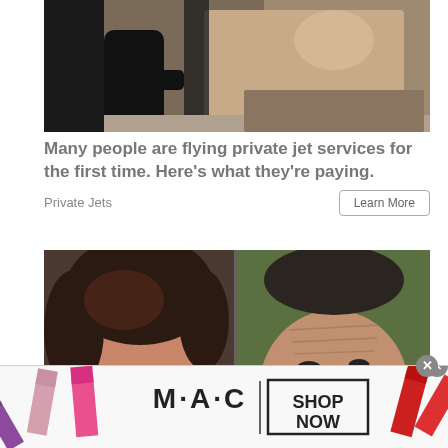[Figure (photo): Person in black outfit getting into a luxury car with beige interior, car door open]
Many people are flying private jet services for the first time. Here's what they're paying.
Private Jets
Learn More
[Figure (photo): Split image showing two faces close up — a woman with dark hair on the left and a man with a receding hairline on the right]
[Figure (photo): MAC cosmetics advertisement banner showing lipsticks, MAC logo, and SHOP NOW call to action with a close button]